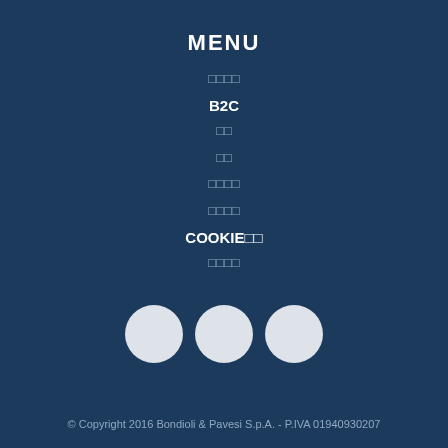MENU
□□□□
B2C
□□
□□
□□□□
□□□□
COOKIE□□
□□□□
[Figure (illustration): Three light gray circles arranged horizontally, representing social media or link icons]
© Copyright 2016 Bondioli & Pavesi S.p.A. - P.IVA 01940930207